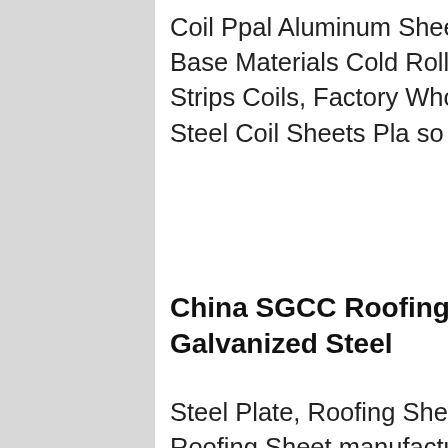Coil Ppal Aluminum Sheets, Galvalume Steel Base Materials Cold Rolled Steel Sheets Strips Coils, Factory Wholesale Cold Rolled Steel Coil Sheets Pla... and so on.
China SGCC Roofing Sheet Cor... Galvanized Steel
Steel Plate, Roofing Sheet, Corru... Roofing Sheet manufacturer / sup... China, offering SGCC Roofing Sh... Corrugated Galvanized Steel She... Coils, Building Material Galvanized Steel Coil for Roofing, Manufacfutre Exporetrs Supplier Building Materials for Coils Gi and so on.China Metal Roofing Gi Corrugated Steel Sheet Suppliers china wholesale gi steel plate corrugated roofing
[Figure (photo): Customer service representative wearing headset, smiling. Ad widget with dark blue background, '7X24 Online' header, photo of woman with headset, 'Hello, may I help you?' text, and 'Get Latest Price' yellow button.]